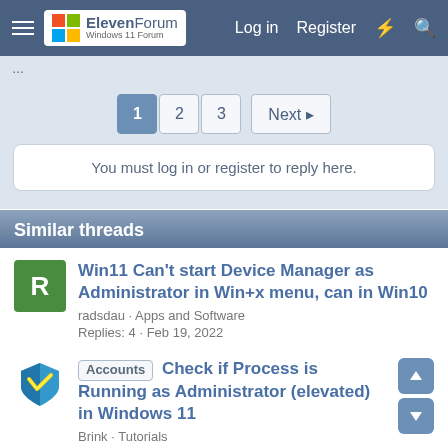ElevenForum | Log in | Register
1 2 3 Next
You must log in or register to reply here.
Similar threads
Win11 Can't start Device Manager as Administrator in Win+x menu, can in Win10
radsdau · Apps and Software
Replies: 4 · Feb 19, 2022
Accounts Check if Process is Running as Administrator (elevated) in Windows 11
Brink · Tutorials
Replies: 4 · Jun 22, 2022